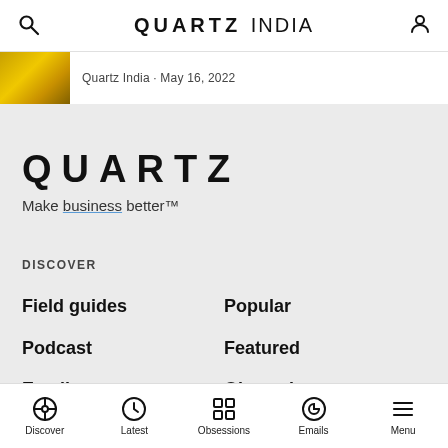QUARTZ INDIA
Quartz India · May 16, 2022
QUARTZ
Make business better™
DISCOVER
Field guides
Popular
Podcast
Featured
Emails
Obsessions
Latest
Discover  Latest  Obsessions  Emails  Menu